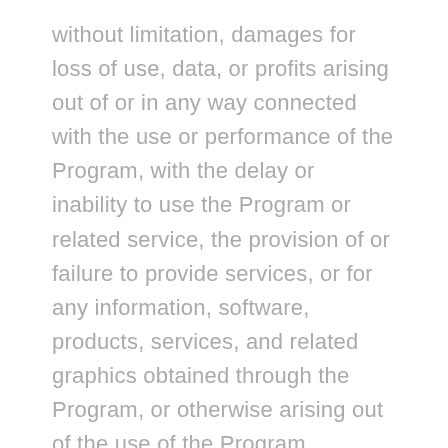without limitation, damages for loss of use, data, or profits arising out of or in any way connected with the use or performance of the Program, with the delay or inability to use the Program or related service, the provision of or failure to provide services, or for any information, software, products, services, and related graphics obtained through the Program, or otherwise arising out of the use of the Program, whether based on contract, tort, negligence, strict liability, or otherwise, even if the Company or any of its suppliers has been advised of the possibility of damages. Because some States or other jurisdictions do not allow the exclusion or limitation of liability for consequential or incidental damages, the above limitations may not apply to You. If you are dissatisfied with the Program or any portion of it, your sole and exclusive remedy is to discontinue using the